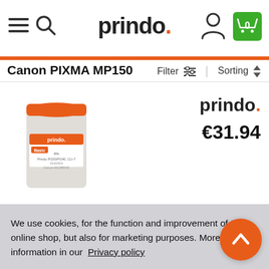[Figure (screenshot): Prindo logo in header]
Canon PIXMA MP150
Filter   Sorting
[Figure (photo): Prindo branded ink cartridge product image]
prindo. €31.94
We use cookies, for the function and improvement of this online shop, but also for marketing purposes. More information in our Privacy policy
Decline marketing cookies
Allow all cookies ✓